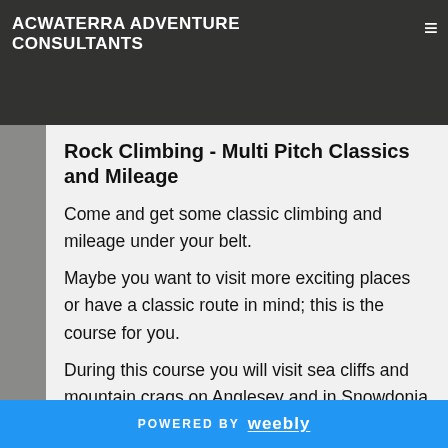ACWATERRA ADVENTURE CONSULTANTS
Rock Climbing - Multi Pitch Classics and Mileage
Come and get some classic climbing and mileage under your belt.
Maybe you want to visit more exciting places or have a classic route in mind; this is the course for you.
During this course you will visit sea cliffs and mountain crags on Anglesey and in Snowdonia and bag yourself some multi-pitch routes. You could find yourself on
POWERED BY weebly